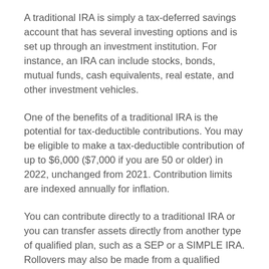A traditional IRA is simply a tax-deferred savings account that has several investing options and is set up through an investment institution. For instance, an IRA can include stocks, bonds, mutual funds, cash equivalents, real estate, and other investment vehicles.
One of the benefits of a traditional IRA is the potential for tax-deductible contributions. You may be eligible to make a tax-deductible contribution of up to $6,000 ($7,000 if you are 50 or older) in 2022, unchanged from 2021. Contribution limits are indexed annually for inflation.
You can contribute directly to a traditional IRA or you can transfer assets directly from another type of qualified plan, such as a SEP or a SIMPLE IRA. Rollovers may also be made from a qualified employer-sponsored plan, such as a 401(k) or 403(b), after you change jobs or retire. (Make sure you